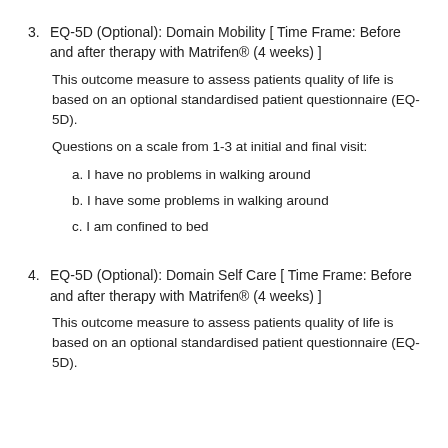3. EQ-5D (Optional): Domain Mobility [ Time Frame: Before and after therapy with Matrifen® (4 weeks) ]
This outcome measure to assess patients quality of life is based on an optional standardised patient questionnaire (EQ-5D).
Questions on a scale from 1-3 at initial and final visit:
a. I have no problems in walking around
b. I have some problems in walking around
c. I am confined to bed
4. EQ-5D (Optional): Domain Self Care [ Time Frame: Before and after therapy with Matrifen® (4 weeks) ]
This outcome measure to assess patients quality of life is based on an optional standardised patient questionnaire (EQ-5D).